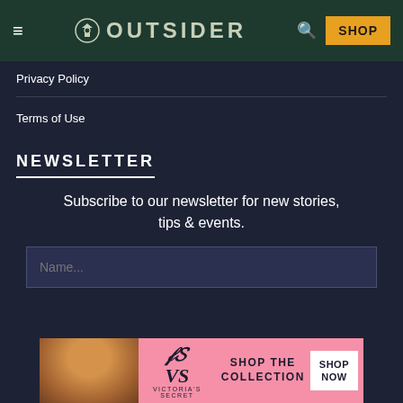OUTSIDER — navigation header with hamburger menu, logo, search icon, and SHOP button
Privacy Policy
Terms of Use
NEWSLETTER
Subscribe to our newsletter for new stories, tips & events.
Name...
[Figure (photo): Victoria's Secret advertisement banner: model photo on left, VS logo, SHOP THE COLLECTION text, and SHOP NOW button on pink background]